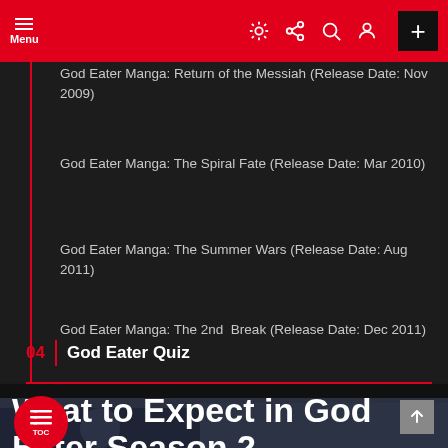Menu
God Eater Manga: Return of the Messiah (Release Date: Nov 2009)
God Eater Manga: The Spiral Fate (Release Date: Mar 2010)
God Eater Manga: The Summer Wars (Release Date: Aug 2011)
God Eater Manga: The 2nd Break (Release Date: Dec 2011)
04 | God Eater Quiz
What to Expect in God Eater Season 2